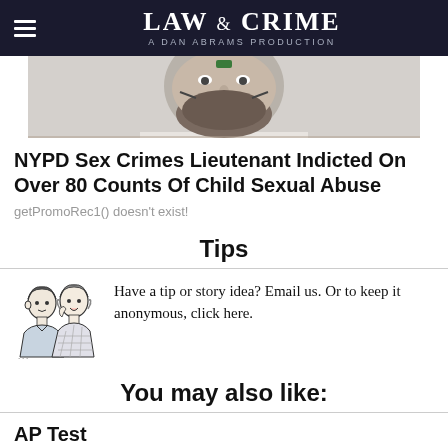LAW & CRIME — A DAN ABRAMS PRODUCTION
[Figure (photo): Cropped mugshot-style photo of a man with facial tattoos]
NYPD Sex Crimes Lieutenant Indicted On Over 80 Counts Of Child Sexual Abuse
getPromoRec1() doesn't exist!
Tips
[Figure (illustration): Retro black-and-white illustration of two women, one whispering to the other]
Have a tip or story idea? Email us. Or to keep it anonymous, click here.
You may also like:
AP Test